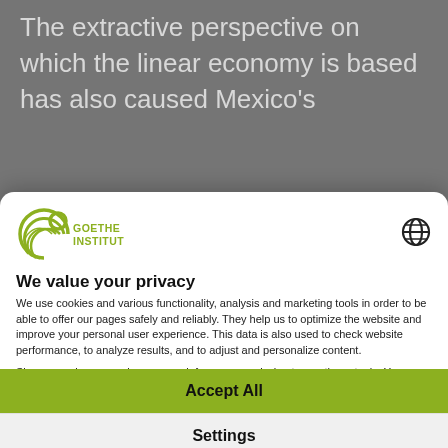The extractive perspective on which the linear economy is based has also caused Mexico's
[Figure (logo): Goethe Institut logo with circular green graphic and green text reading GOETHE INSTITUT]
[Figure (other): Globe/language selection icon]
We value your privacy
We use cookies and various functionality, analysis and marketing tools in order to be able to offer our pages safely and reliably. They help us to optimize the website and improve your personal user experience. This data is also used to check website performance, to analyze results, and to adjust and personalize content.
Since we value your privacy, we ask for your permission to use these tools. You can change or revoke your consent at any time in
Accept All
Settings